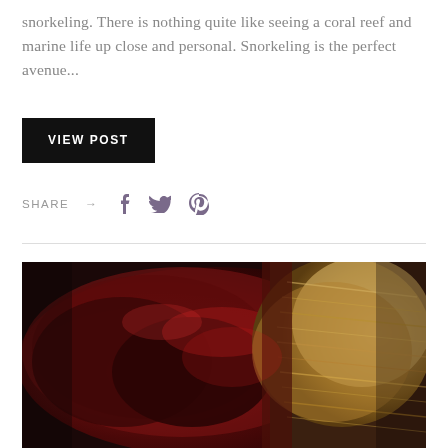snorkeling. There is nothing quite like seeing a coral reef and marine life up close and personal. Snorkeling is the perfect avenue...
VIEW POST
SHARE → (social icons: Facebook, Twitter, Pinterest)
[Figure (photo): Close-up photo of cooked BBQ meat — dark caramelized barbecue brisket or pulled pork on the left half, with shredded lighter-colored pulled meat on the right half, on a dark background.]